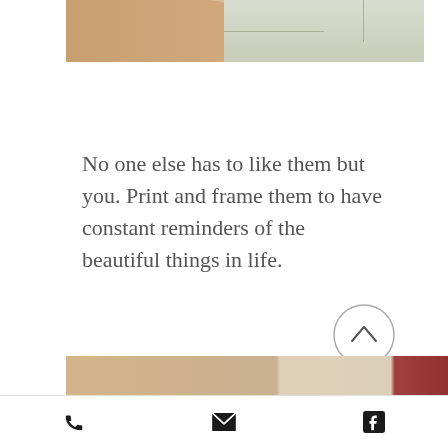[Figure (photo): Top portion of a photograph showing a person's body/shoulder and a window with curtains in the background — warm beige and muted green tones]
No one else has to like them but you. Print and frame them to have constant reminders of the beautiful things in life.
[Figure (other): Circular back-to-top button with an upward-pointing chevron arrow inside a circle outline]
[Figure (photo): Bottom portion of a photograph showing a warm-toned wooden or skin-colored surface, partially cropped]
Phone icon | Email icon | Facebook icon